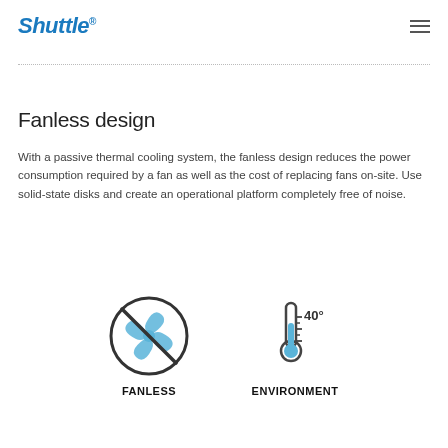Shuttle®
Fanless design
With a passive thermal cooling system, the fanless design reduces the power consumption required by a fan as well as the cost of replacing fans on-site. Use solid-state disks and create an operational platform completely free of noise.
[Figure (illustration): Two icons side by side: a fanless icon (fan with a prohibition circle) labeled FANLESS, and a thermometer with 40° label labeled ENVIRONMENT]
FANLESS   ENVIRONMENT